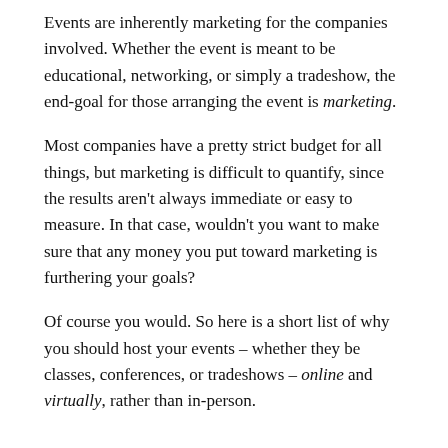Events are inherently marketing for the companies involved. Whether the event is meant to be educational, networking, or simply a tradeshow, the end-goal for those arranging the event is marketing.
Most companies have a pretty strict budget for all things, but marketing is difficult to quantify, since the results aren't always immediate or easy to measure. In that case, wouldn't you want to make sure that any money you put toward marketing is furthering your goals?
Of course you would. So here is a short list of why you should host your events – whether they be classes, conferences, or tradeshows – online and virtually, rather than in-person.